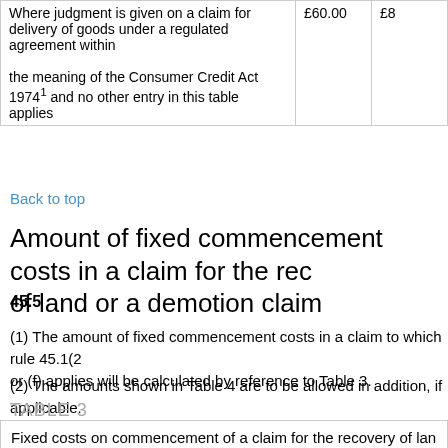|  | £60.00 | £8... |
| --- | --- | --- |
| Where judgment is given on a claim for delivery of goods under a regulated agreement within the meaning of the Consumer Credit Act 1974¹ and no other entry in this table applies | £60.00 | £8... |
Back to top
Amount of fixed commencement costs in a claim for the recovery of land or a demotion claim
45.5
(1) The amount of fixed commencement costs in a claim to which rule 45.1(2)(e) or (f) applies will be calculated by reference to Table 3.
(2) The amounts shown in Table 4 are to be allowed in addition, if applicable.
TABLE 3
| Fixed costs on commencement of a claim for the recovery of land or a demotion claim |
| --- |
| Where the claim form is served by the court or by any method other than | Where –
• the claim form is served personally | Where there is more than one defendant, for each defendant personally |